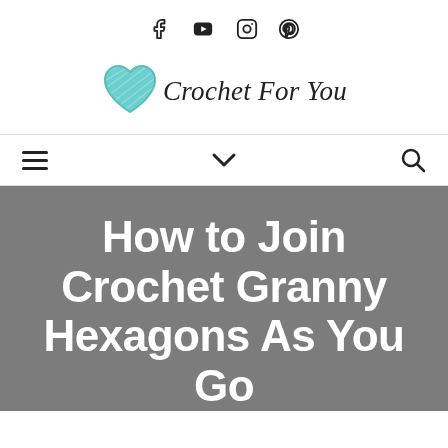Social icons: Facebook, YouTube, Instagram, Pinterest
[Figure (logo): Crochet For You logo with teal heart shape and cursive script text]
Navigation bar with hamburger menu, chevron/dropdown, and search icons
How to Join Crochet Granny Hexagons As You Go